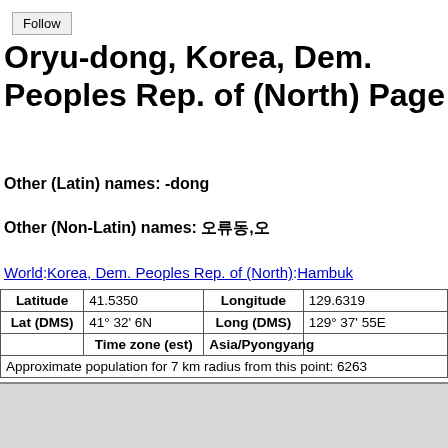Oryu-dong, Korea, Dem. Peoples Rep. of (North) Page
Other (Latin) names: -dong
Other (Non-Latin) names: 오류동,오
World:Korea, Dem. Peoples Rep. of (North):Hambuk
| Latitude | 41.5350 | Longitude | 129.6319 |
| --- | --- | --- | --- |
| Lat (DMS) | 41° 32' 6N | Long (DMS) | 129° 37' 55E |
|  | Time zone (est) | Asia/Pyongyang |  |
Approximate population for 7 km radius from this point: 6263
[Figure (map): Interactive map with zoom controls (+ and -) showing location of Oryu-dong]